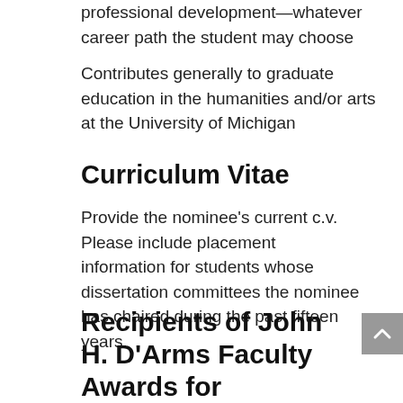professional development—whatever career path the student may choose
Contributes generally to graduate education in the humanities and/or arts at the University of Michigan
Curriculum Vitae
Provide the nominee's current c.v. Please include placement information for students whose dissertation committees the nominee has chaired during the past fifteen years.
Recipients of John H. D'Arms Faculty Awards for